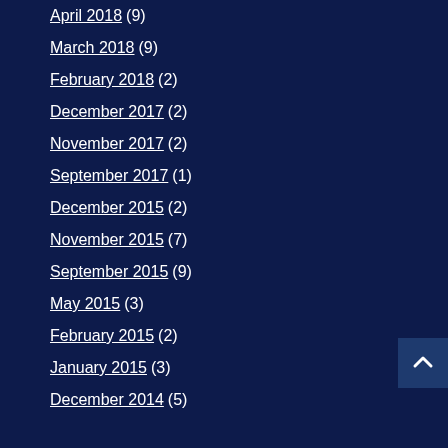April 2018 (9)
March 2018 (9)
February 2018 (2)
December 2017 (2)
November 2017 (2)
September 2017 (1)
December 2015 (2)
November 2015 (7)
September 2015 (9)
May 2015 (3)
February 2015 (2)
January 2015 (3)
December 2014 (5)